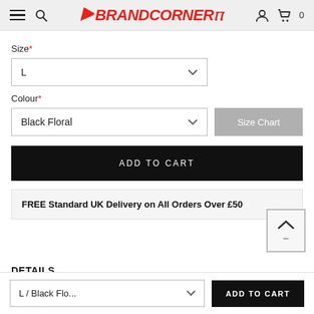BrandCorner — navigation header with hamburger menu, search, logo, user icon, cart (0)
Size*
L (dropdown selected)
Colour*
Black Floral (dropdown selected)
Size Chart
ADD TO CART
FREE Standard UK Delivery on All Orders Over £50
DETAILS
L / Black Flo... — ADD TO CART (sticky bar)